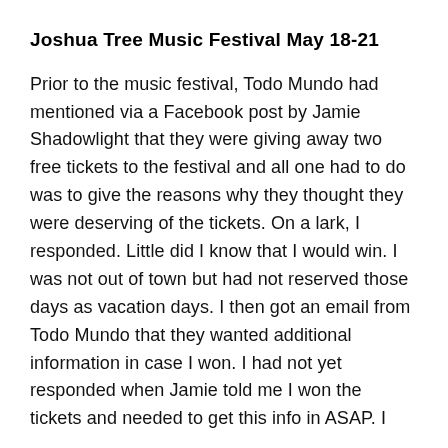Joshua Tree Music Festival May 18-21
Prior to the music festival, Todo Mundo had mentioned via a Facebook post by Jamie Shadowlight that they were giving away two free tickets to the festival and all one had to do was to give the reasons why they thought they were deserving of the tickets. On a lark, I responded. Little did I know that I would win. I was not out of town but had not reserved those days as vacation days. I then got an email from Todo Mundo that they wanted additional information in case I won. I had not yet responded when Jamie told me I won the tickets and needed to get this info in ASAP. I